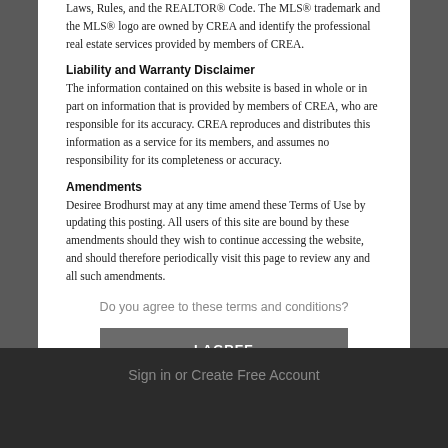Laws, Rules, and the REALTOR® Code. The MLS® trademark and the MLS® logo are owned by CREA and identify the professional real estate services provided by members of CREA.
Liability and Warranty Disclaimer
The information contained on this website is based in whole or in part on information that is provided by members of CREA, who are responsible for its accuracy. CREA reproduces and distributes this information as a service for its members, and assumes no responsibility for its completeness or accuracy.
Amendments
Desiree Brodhurst may at any time amend these Terms of Use by updating this posting. All users of this site are bound by these amendments should they wish to continue accessing the website, and should therefore periodically visit this page to review any and all such amendments.
Do you agree to these terms and conditions?
I AGREE
Sign in or Create Free Account